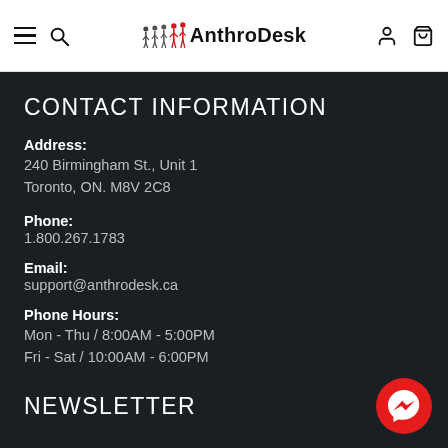AnthrDesk navigation header with hamburger menu, search, logo, user and cart icons
CONTACT INFORMATION
Address:
240 Birmingham St., Unit 1
Toronto, ON. M8V 2C8
Phone:
1.800.267.1783
Email:
support@anthrodesk.ca
Phone Hours:
Mon - Thu / 8:00AM - 5:00PM
Fri - Sat / 10:00AM - 6:00PM
NEWSLETTER